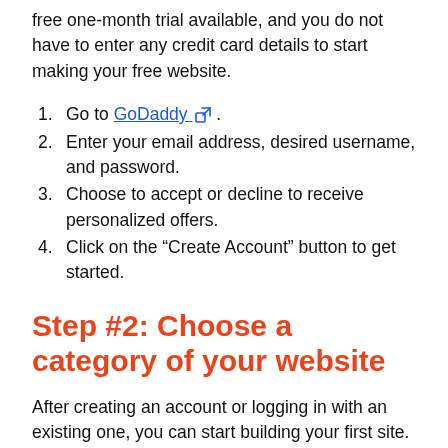free one-month trial available, and you do not have to enter any credit card details to start making your free website.
1. Go to GoDaddy .
2. Enter your email address, desired username, and password.
3. Choose to accept or decline to receive personalized offers.
4. Click on the “Create Account” button to get started.
Step #2: Choose a category of your website
After creating an account or logging in with an existing one, you can start building your first site. The first step is to select a category.